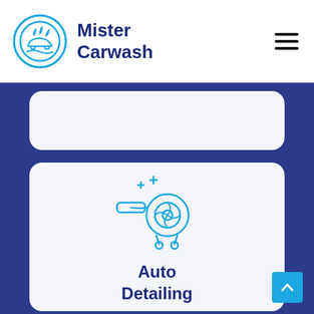Mister Carwash
[Figure (illustration): Partially visible white card at the top of the content area, showing the bottom portion of a service card (content not visible)]
[Figure (illustration): Auto detailing service card with a blue line-art icon of a leaf blower with sparkles, centered on a light gray-white card background]
Auto Detailing
[Figure (illustration): Partial view of a third service card at the bottom, showing the top of a car wash tunnel icon in blue line art]